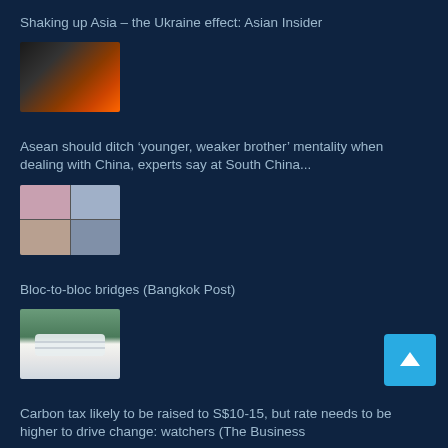Shaking up Asia – the Ukraine effect: Asian Insider
[Figure (photo): Fire and smoke scene, dark tones with orange flames]
Asean should ditch 'younger, weaker brother' mentality when dealing with China, experts say at South China...
[Figure (photo): Video conference grid showing multiple participants]
Bloc-to-bloc bridges (Bangkok Post)
[Figure (photo): Medical face mask on a green surface]
Carbon tax likely to be raised to S$10-15, but rate needs to be higher to drive change: watchers (The Business...
[Figure (photo): Industrial chimney emitting smoke against a blue sky]